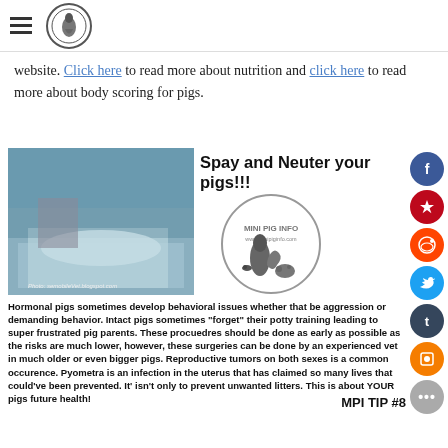[hamburger menu icon] [Mini Pig Info logo]
website. Click here to read more about nutrition and click here to read more about body scoring for pigs.
[Figure (photo): Photo of a pig on a veterinary surgery table, draped in blue surgical cloth. Caption reads: Photo: semobileVet.blogspot.com]
Spay and Neuter your pigs!!!
[Figure (logo): Circular logo with silhouette of woman in dress with small pig. Text reads: MINI PIG INFO www.minipiginfo.com]
Hormonal pigs sometimes develop behavioral issues whether that be aggression or demanding behavior. Intact pigs sometimes "forget" their potty training leading to super frustrated pig parents. These procuedres should be done as early as possible as the risks are much lower, however, these surgeries can be done by an experienced vet in much older or even bigger pigs. Reproductive tumors on both sexes is a common occurence. Pyometra is an infection in the uterus that has claimed so many lives that could've been prevented. It' isn't only to prevent unwanted litters. This is about YOUR pigs future health!
MPI TIP #8